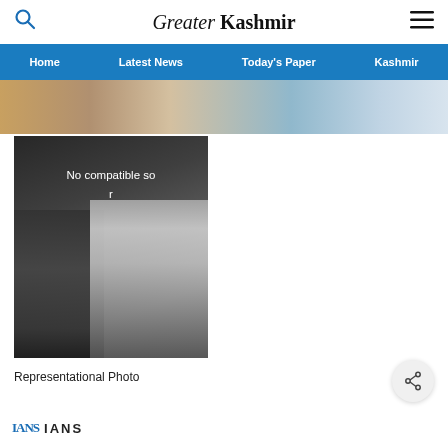Greater Kashmir
Home | Latest News | Today's Paper | Kashmir
[Figure (photo): Cropped top section of a news article photo, showing colorful blurred objects]
[Figure (photo): Video player showing two people looking at a phone, with overlay text 'No compatible so... r']
Representational Photo
IANS